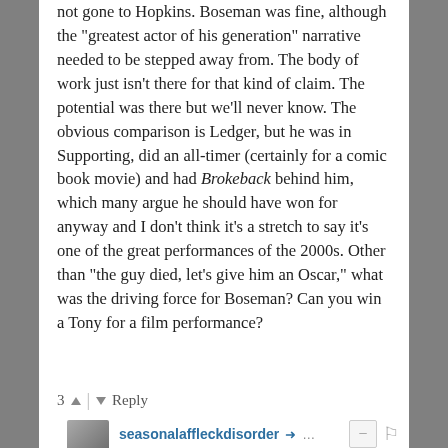not gone to Hopkins. Boseman was fine, although the "greatest actor of his generation" narrative needed to be stepped away from. The body of work just isn't there for that kind of claim. The potential was there but we'll never know. The obvious comparison is Ledger, but he was in Supporting, did an all-timer (certainly for a comic book movie) and had Brokeback behind him, which many argue he should have won for anyway and I don't think it's a stretch to say it's one of the great performances of the 2000s. Other than "the guy died, let's give him an Oscar," what was the driving force for Boseman? Can you win a Tony for a film performance?
3 ▲ | ▼ Reply
seasonalaffleckdisorder ➤ ... a year ago edited
Of course we had the same kind of furor and hyperbole on and offline to give Heath Ledger every award after he died for a fantastic genre performance in an overall weak film like